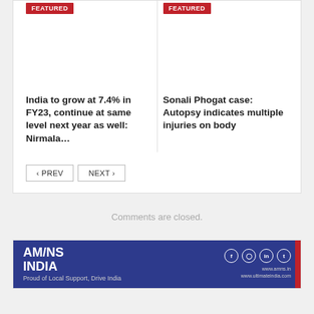FEATURED
FEATURED
India to grow at 7.4% in FY23, continue at same level next year as well: Nirmala…
Sonali Phogat case: Autopsy indicates multiple injuries on body
PREV
NEXT
Comments are closed.
[Figure (logo): AM/NS INDIA logo banner with social media icons on blue background]